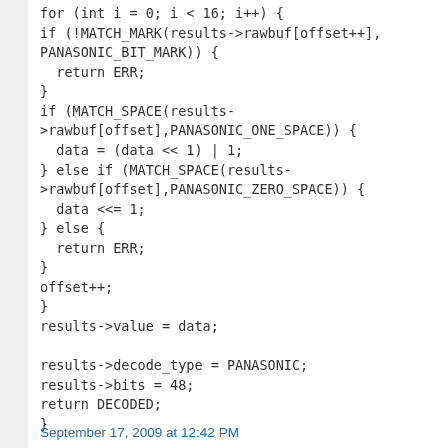for (int i = 0; i < 16; i++) {
if (!MATCH_MARK(results->rawbuf[offset++],
PANASONIC_BIT_MARK)) {
return ERR;
}
if (MATCH_SPACE(results-
>rawbuf[offset],PANASONIC_ONE_SPACE)) {
data = (data << 1) | 1;
} else if (MATCH_SPACE(results-
>rawbuf[offset],PANASONIC_ZERO_SPACE)) {
data <<= 1;
} else {
return ERR;
}
offset++;
}
results->value = data;

results->decode_type = PANASONIC;
results->bits = 48;
return DECODED;
}
September 17, 2009 at 12:42 PM